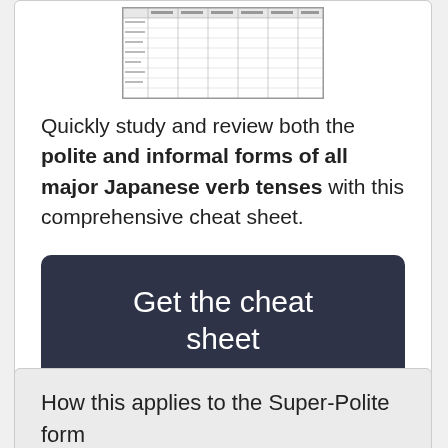[Figure (table-as-image): A small thumbnail image of a Japanese verb conjugation cheat sheet table]
Quickly study and review both the polite and informal forms of all major Japanese verb tenses with this comprehensive cheat sheet.
Get the cheat sheet
How this applies to the Super-Polite form